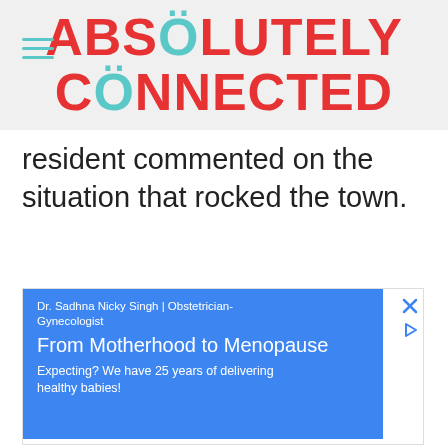ABSOLUTELY CONNECTED
resident commented on the situation that rocked the town.
ADVERTISEMENT
[Figure (screenshot): Google Maps advertisement for Dr. Sadhna Nicky Singh | Obstetrician-Gynecologist. Blue box with text: From Motherhood to Menopause. Expecting? We have 25 years of delivering healthy babies! Below is a map showing Main St area with a red location pin near Bonds Escape Room - Fairfax. Bottom bar shows Ashburn OPEN 7:30AM–6PM, 43781 Parkhurst Plaza, Ashburn.]